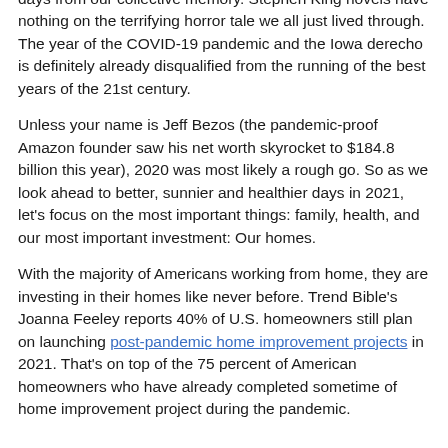days from our collective memory. Stephen King novels have nothing on the terrifying horror tale we all just lived through. The year of the COVID-19 pandemic and the Iowa derecho is definitely already disqualified from the running of the best years of the 21st century.
Unless your name is Jeff Bezos (the pandemic-proof Amazon founder saw his net worth skyrocket to $184.8 billion this year), 2020 was most likely a rough go. So as we look ahead to better, sunnier and healthier days in 2021, let's focus on the most important things: family, health, and our most important investment: Our homes.
With the majority of Americans working from home, they are investing in their homes like never before. Trend Bible's Joanna Feeley reports 40% of U.S. homeowners still plan on launching post-pandemic home improvement projects in 2021. That's on top of the 75 percent of American homeowners who have already completed sometime of home improvement project during the pandemic.
(partial text cut off at bottom of page)